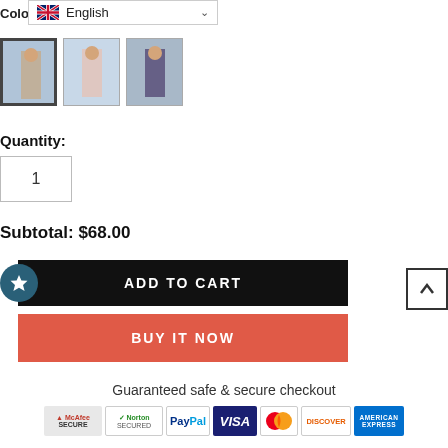Color:
[Figure (screenshot): Language selector dropdown showing UK flag and 'English' with chevron]
[Figure (photo): Three product thumbnail images of women's dresses; first thumbnail is selected with border]
Quantity:
1
Subtotal: $68.00
[Figure (infographic): Add to Cart button (black) with star/wishlist icon overlay, and Buy It Now button (coral red)]
[Figure (infographic): Back to top arrow button]
Guaranteed safe & secure checkout
[Figure (infographic): Payment security badges: McAfee Secure, Norton Secured, PayPal, Visa, Mastercard, Discover, American Express]